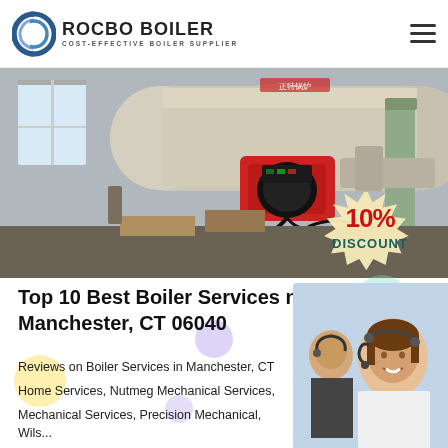[Figure (logo): Rocbo Boiler logo with circular blue/gray icon and text 'ROCBO BOILER / COST-EFFECTIVE BOILER SUPPLIER']
[Figure (photo): Industrial boiler equipment in a factory setting with a red burner unit attached, large cylindrical boiler tank, metal pipes and ducts, yellow industrial column at right]
[Figure (infographic): 10% Discount badge in cream/beige starburst shape with red bold '10%' and teal/dark cyan 'DISCOUNT' text]
Top 10 Best Boiler Services near Manchester, CT 06040
Reviews on Boiler Services in Manchester, CT Home Services, Nutmeg Mechanical Services, Mechanical Services, Precision Mechanical, Wilson HVACR, Glastonbury Burner & Boiler, Green Air Duct Services,...
[Figure (photo): Customer service representative woman with headset smiling, with another person in background, wearing white top]